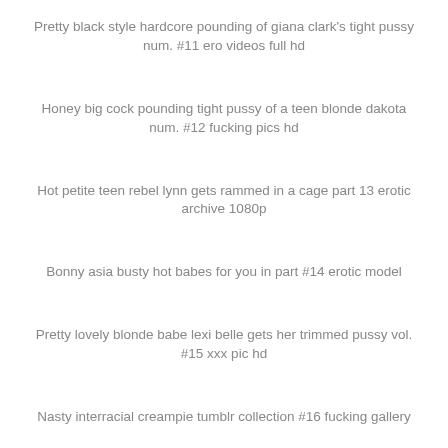Pretty black style hardcore pounding of giana clark's tight pussy num. #11 ero videos full hd
Honey big cock pounding tight pussy of a teen blonde dakota num. #12 fucking pics hd
Hot petite teen rebel lynn gets rammed in a cage part 13 erotic archive 1080p
Bonny asia busty hot babes for you in part #14 erotic model
Pretty lovely blonde babe lexi belle gets her trimmed pussy vol. #15 xxx pic hd
Nasty interracial creampie tumblr collection #16 fucking gallery